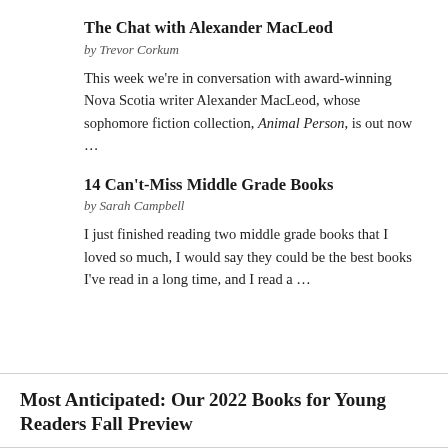The Chat with Alexander MacLeod
by Trevor Corkum
This week we're in conversation with award-winning Nova Scotia writer Alexander MacLeod, whose sophomore fiction collection, Animal Person, is out now …
14 Can't-Miss Middle Grade Books
by Sarah Campbell
I just finished reading two middle grade books that I loved so much, I would say they could be the best books I've read in a long time, and I read a …
Most Anticipated: Our 2022 Books for Young Readers Fall Preview